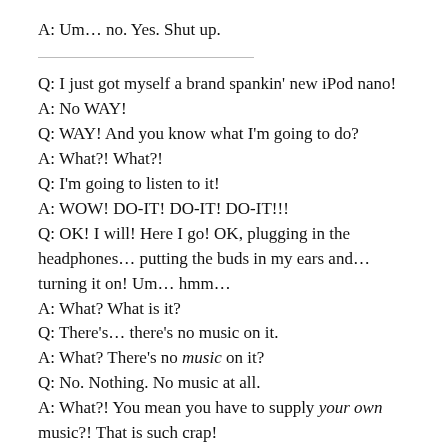A: Um… no. Yes. Shut up.
Q: I just got myself a brand spankin' new iPod nano! A: No WAY! Q: WAY! And you know what I'm going to do? A: What?! What?! Q: I'm going to listen to it! A: WOW! DO-IT! DO-IT! DO-IT!!! Q: OK! I will! Here I go! OK, plugging in the headphones… putting the buds in my ears and… turning it on! Um… hmm… A: What? What is it? Q: There's… there's no music on it. A: What? There's no music on it? Q: No. Nothing. No music at all. A: What?! You mean you have to supply your own music?! That is such crap! Q: I know. I know. I mean… where the hell is the